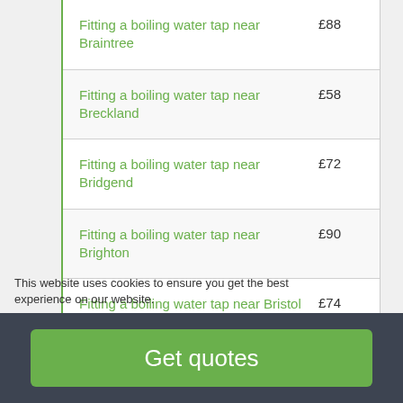| Service | Price |
| --- | --- |
| Fitting a boiling water tap near Braintree | £88 |
| Fitting a boiling water tap near Breckland | £58 |
| Fitting a boiling water tap near Bridgend | £72 |
| Fitting a boiling water tap near Brighton | £90 |
| Fitting a boiling water tap near Bristol | £74 |
|  | £84 |
This website uses cookies to ensure you get the best experience on our website.
Get quotes